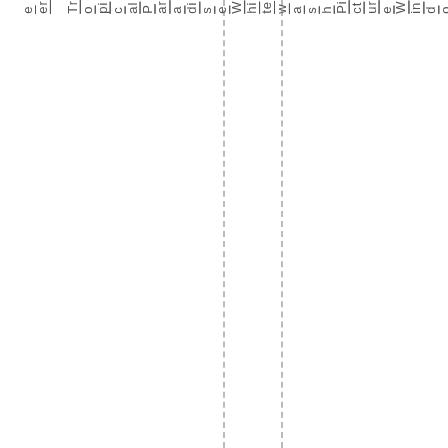er Tropical Paradise Whitewash Picture Window Vi...